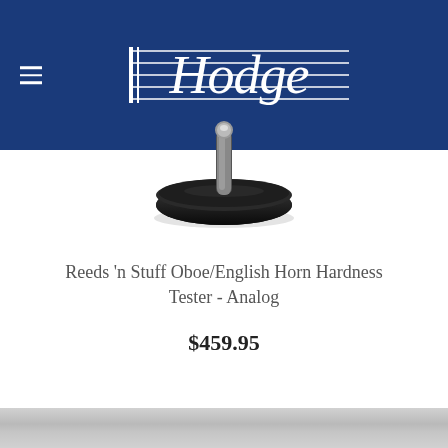[Figure (logo): Hodge music store logo — white script lettering 'Hodge' on blue background with musical staff lines]
[Figure (photo): Reeds 'n Stuff Oboe/English Horn Hardness Tester analog device — black circular base with silver metallic pin/post, photographed on white background]
Reeds 'n Stuff Oboe/English Horn Hardness Tester - Analog
$459.95